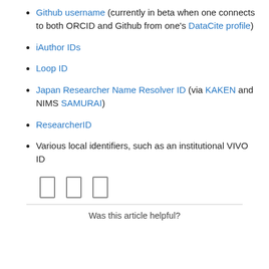Github username (currently in beta when one connects to both ORCID and Github from one's DataCite profile)
iAuthor IDs
Loop ID
Japan Researcher Name Resolver ID (via KAKEN and NIMS SAMURAI)
ResearcherID
Various local identifiers, such as an institutional VIVO ID
[Figure (other): Three small icon boxes (share/social icons) in a row]
Was this article helpful?